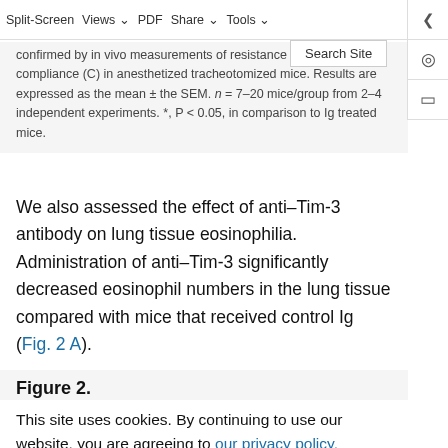confirmed by in vivo measurements of resistance (B) and compliance (C) in anesthetized tracheotomized mice. Results are expressed as the mean ± the SEM. n = 7–20 mice/group from 2–4 independent experiments. *, P < 0.05, in comparison to Ig treated mice.
We also assessed the effect of anti–Tim-3 antibody on lung tissue eosinophilia. Administration of anti–Tim-3 significantly decreased eosinophil numbers in the lung tissue compared with mice that received control Ig (Fig. 2 A).
Figure 2.
This site uses cookies. By continuing to use our website, you are agreeing to our privacy policy. Accept